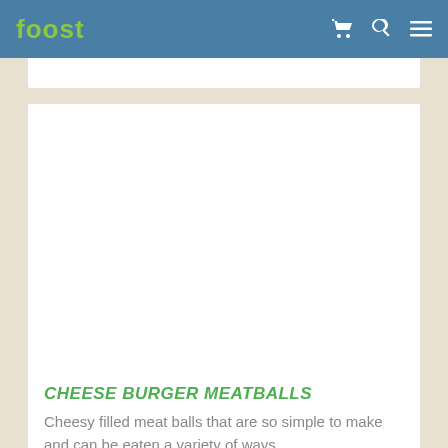foost
[Figure (photo): White blank image area for a recipe food photo]
CHEESE BURGER MEATBALLS
Cheesy filled meat balls that are so simple to make and can be eaten a variety of ways.